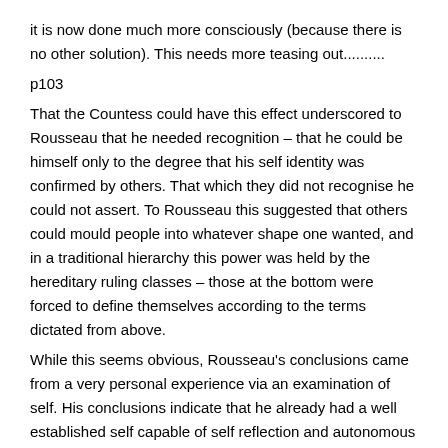it is now done much more consciously (because there is no other solution). This needs more teasing out..........
p103
That the Countess could have this effect underscored to Rousseau that he needed recognition – that he could be himself only to the degree that his self identity was confirmed by others. That which they did not recognise he could not assert. To Rousseau this suggested that others could mould people into whatever shape one wanted, and in a traditional hierarchy this power was held by the hereditary ruling classes – those at the bottom were forced to define themselves according to the terms dictated from above.
While this seems obvious, Rousseau's conclusions came from a very personal experience via an examination of self. His conclusions indicate that he already had a well established self capable of self reflection and autonomous action. His ability to be self analytical and to resist sprang from that well.
It also indicates that resistance to ruling class pressure that distorts identity a la Rousseau's experience begins in the individual (there must be formed individuals of which modern societies generate by